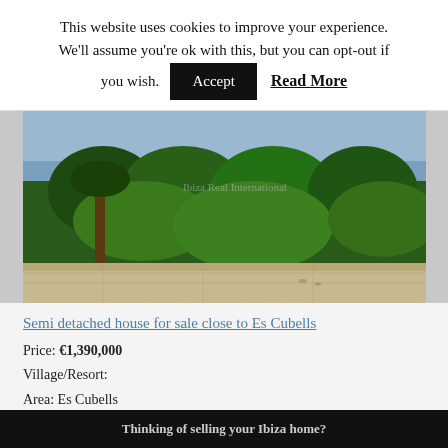This website uses cookies to improve your experience. We'll assume you're ok with this, but you can opt-out if you wish. Accept  Read More
[Figure (photo): Outdoor photo showing lush tropical greenery with palm trees, dense green bushes, and a view of the sea/ocean in the background under a bright sky. Stone terrace visible in foreground.]
Semi detached house for sale close to Es Cubells
Price: €1,390,000
Village/Resort:
Area: Es Cubells
Region: Ibiza
Thinking of selling your Ibiza home?